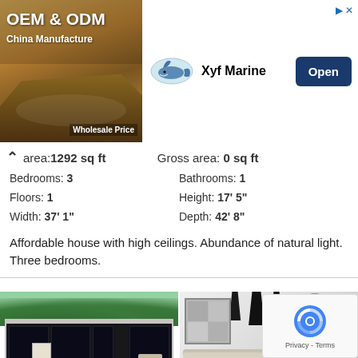[Figure (screenshot): Advertisement banner for Xyf Marine OEM & ODM China Manufacture Wholesale Price with Open button]
area:1292 sq ft   Gross area: 0 sq ft
Bedrooms: 3   Bathrooms: 1
Floors: 1   Height: 17' 5"
Width: 37' 1"   Depth: 42' 8"
Affordable house with high ceilings. Abundance of natural light. Three bedrooms.
[Figure (photo): Two photos side by side: exterior of modern single-story house with large dark windows and trees, and interior of modern living room with sofa, pendant lamps, mirror wall art, and TV unit]
HOUSE PLAN CH419
Net area:1625 sq ft   Gross area: 1808 sq ft
Bedrooms: 3   Bathrooms: 2
Floors: 1   Height: 13' 5"
Width: 42' 4"   Depth: 44' 7"